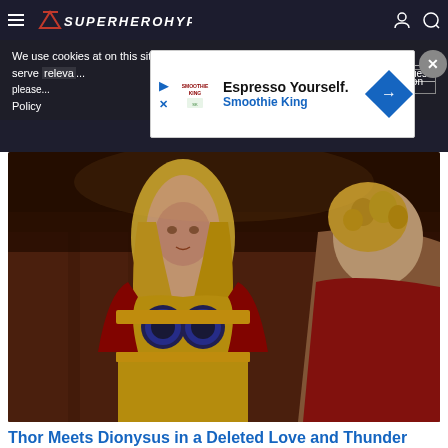SuperHeroHype
We use cookies at on this site so we can serve releva... please... Cookie Information Policy
[Figure (screenshot): Advertisement overlay for Smoothie King: 'Espresso Yourself. Smoothie King' with play icon, X icon, Smoothie King logo, and blue diamond arrow icon. Close (X) button in top right.]
[Figure (photo): Movie still from Thor: Love and Thunder showing Thor (in gold and blue armor with red cape) facing another character (seen from behind with curly hair and red outfit) in a warmly lit interior setting.]
Thor Meets Dionysus in a Deleted Love and Thunder Scene
You May Also Like
[Figure (logo): Outbrain logo with orange circle and right-facing arrow]